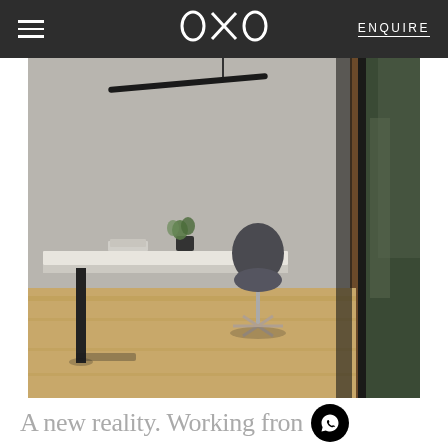OXO  ENQUIRE
[Figure (photo): Interior photograph of a minimalist home office with a concrete-look wall, white floating desk, a dark pendant light, a dark upholstered chair with chrome base, a small plant on the desk, wooden floor, and a glass door opening to outdoor greenery on the right.]
A new reality. Working fron